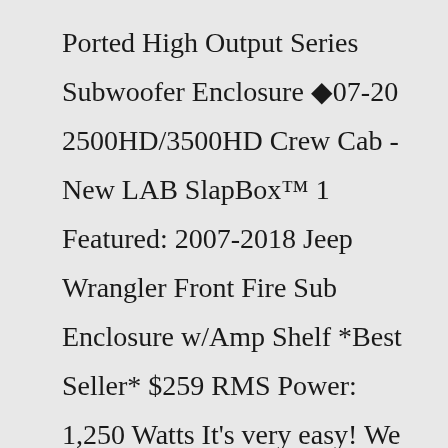Ported High Output Series Subwoofer Enclosure ◆07-20 2500HD/3500HD Crew Cab - New LAB SlapBox™ 1 Featured: 2007-2018 Jeep Wrangler Front Fire Sub Enclosure w/Amp Shelf *Best Seller* $259 RMS Power: 1,250 Watts It's very easy! We can provide you with comprehensive Subwoofer Box Design Software for creating a high performance bass box It allows you to plan and design subs,